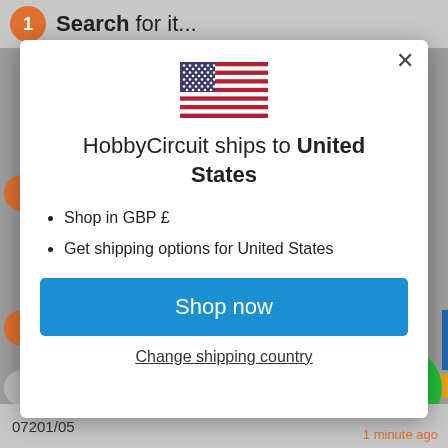Search for it...
[Figure (screenshot): US flag emoji used as country indicator in shipping modal]
HobbyCircuit ships to United States
Shop in GBP £
Get shipping options for United States
Shop now
Change shipping country
07201/05
1 minute ago